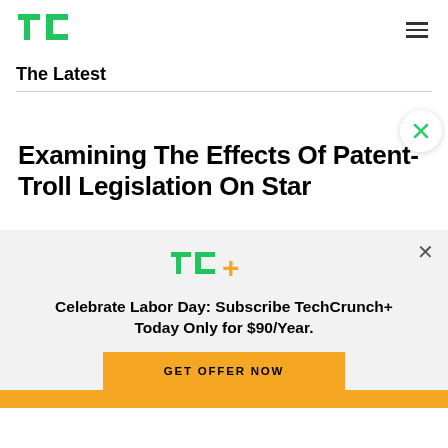TechCrunch
The Latest
Examining The Effects Of Patent-Troll Legislation On Startups
Celebrate Labor Day: Subscribe TechCrunch+ Today Only for $90/Year.
GET OFFER NOW